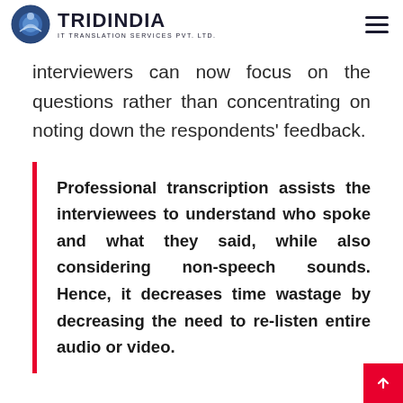TRIDINDIA IT TRANSLATION SERVICES PVT. LTD.
interviewers can now focus on the questions rather than concentrating on noting down the respondents' feedback.
Professional transcription assists the interviewees to understand who spoke and what they said, while also considering non-speech sounds. Hence, it decreases time wastage by decreasing the need to re-listen entire audio or video.